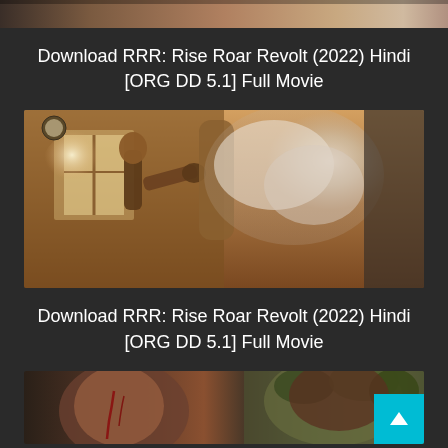[Figure (photo): Top cropped movie still from RRR film, dark warm tones]
Download RRR: Rise Roar Revolt (2022) Hindi [ORG DD 5.1] Full Movie
[Figure (photo): Movie still from RRR (2022) showing a man punching a punching bag with dust/powder explosion, warm amber tones, colonial era setting]
Download RRR: Rise Roar Revolt (2022) Hindi [ORG DD 5.1] Full Movie
[Figure (photo): Partial movie still showing two close-up faces, one with blood on face, partially cropped at bottom of page]